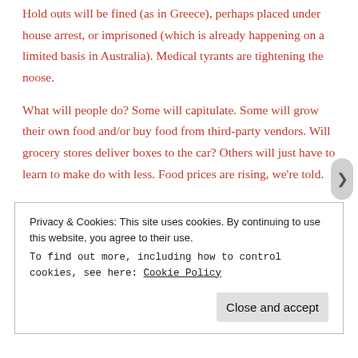Hold outs will be fined (as in Greece), perhaps placed under house arrest, or imprisoned (which is already happening on a limited basis in Australia). Medical tyrants are tightening the noose.
What will people do? Some will capitulate. Some will grow their own food and/or buy food from third-party vendors. Will grocery stores deliver boxes to the car? Others will just have to learn to make do with less. Food prices are rising, we're told.
These appear to be socially engineered austerity
Privacy & Cookies: This site uses cookies. By continuing to use this website, you agree to their use.
To find out more, including how to control cookies, see here: Cookie Policy